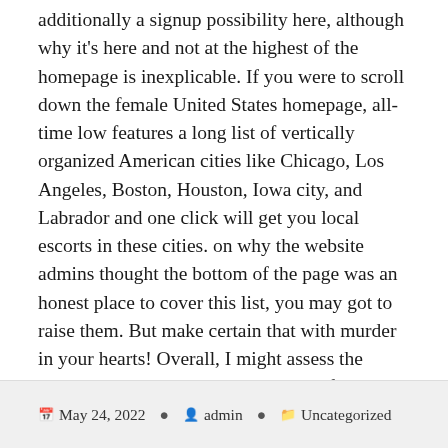additionally a signup possibility here, although why it's here and not at the highest of the homepage is inexplicable. If you were to scroll down the female United States homepage, all-time low features a long list of vertically organized American cities like Chicago, Los Angeles, Boston, Houston, Iowa city, and Labrador and one click will get you local escorts in these cities. on why the website admins thought the bottom of the page was an honest place to cover this list, you may got to raise them. But make certain that with murder in your hearts! Overall, I might assess the website as having an adequate vary of options and having an honest enough style. however any admiration I'd have for the site design is sunken below the deluge of ads scattered everywhere the homepage and elsewhere.
May 24, 2022   admin   Uncategorized